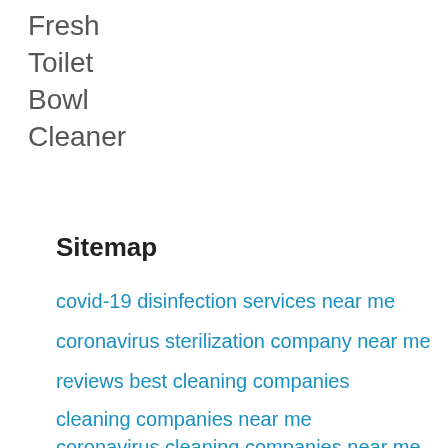Fresh
Toilet
Bowl
Cleaner
Sitemap
covid-19 disinfection services near me
coronavirus sterilization company near me
reviews best cleaning companies
cleaning companies near me
coronavirus cleaning companies near me